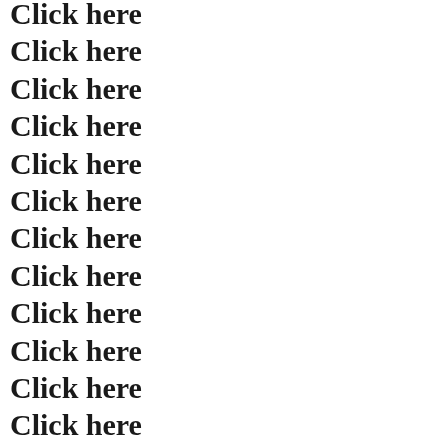Click here
Click here
Click here
Click here
Click here
Click here
Click here
Click here
Click here
Click here
Click here
Click here
Click here
Click here